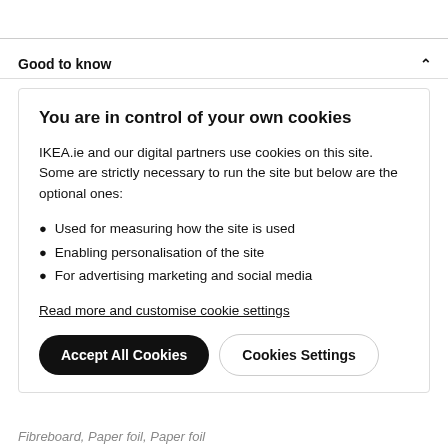Good to know
You are in control of your own cookies
IKEA.ie and our digital partners use cookies on this site. Some are strictly necessary to run the site but below are the optional ones:
Used for measuring how the site is used
Enabling personalisation of the site
For advertising marketing and social media
Read more and customise cookie settings
Accept All Cookies
Cookies Settings
Fibreboard, Paper foil, Paper foil